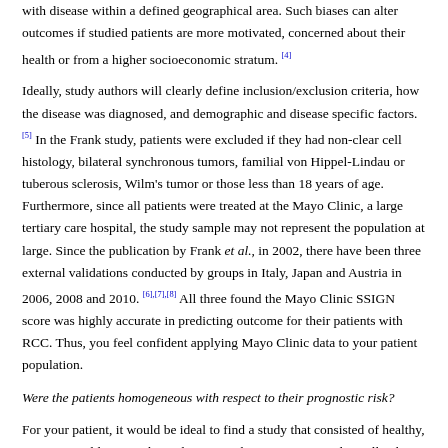with disease within a defined geographical area. Such biases can alter outcomes if studied patients are more motivated, concerned about their health or from a higher socioeconomic stratum. [4]
Ideally, study authors will clearly define inclusion/exclusion criteria, how the disease was diagnosed, and demographic and disease specific factors. [5] In the Frank study, patients were excluded if they had non-clear cell histology, bilateral synchronous tumors, familial von Hippel-Lindau or tuberous sclerosis, Wilm's tumor or those less than 18 years of age. Furthermore, since all patients were treated at the Mayo Clinic, a large tertiary care hospital, the study sample may not represent the population at large. Since the publication by Frank et al., in 2002, there have been three external validations conducted by groups in Italy, Japan and Austria in 2006, 2008 and 2010. [6],[7],[8] All three found the Mayo Clinic SSIGN score was highly accurate in predicting outcome for their patients with RCC. Thus, you feel confident applying Mayo Clinic data to your patient population.
Were the patients homogeneous with respect to their prognostic risk?
For your patient, it would be ideal to find a study that consisted of healthy, 40-50 year old men with similar tumor characteristics. Realistically, these studies do not